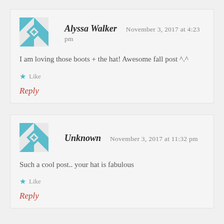[Figure (illustration): Teal and white geometric quilt-pattern avatar for Alyssa Walker]
Alyssa Walker   November 3, 2017 at 4:23 pm
I am loving those boots + the hat! Awesome fall post ^.^
★ Like
Reply
[Figure (illustration): Teal and white geometric quilt-pattern avatar for Unknown]
Unknown   November 3, 2017 at 11:32 pm
Such a cool post.. your hat is fabulous
★ Like
Reply